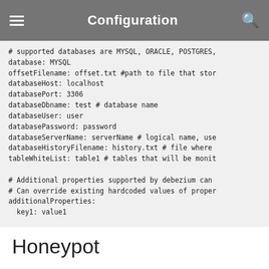Configuration
# supported databases are MYSQL, ORACLE, POSTGRES,
database: MYSQL
offsetFilename: offset.txt #path to file that stor
databaseHost: localhost
databasePort: 3306
databaseDbname: test # database name
databaseUser: user
databasePassword: password
databaseServerName: serverName # logical name, use
databaseHistoryFilename: history.txt # file where
tableWhiteList: table1 # tables that will be monit

# Additional properties supported by debezium can
# Can override existing hardcoded values of proper
additionalProperties:
  key1: value1
Honeypot